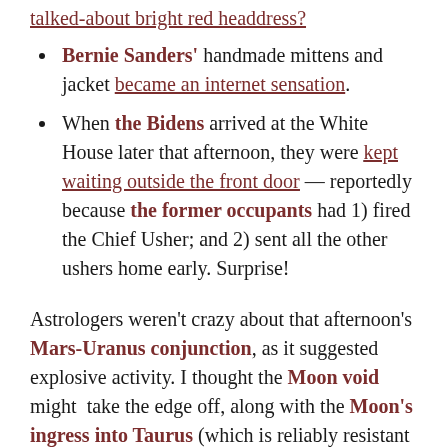talked-about bright red headdress?
Bernie Sanders' handmade mittens and jacket became an internet sensation.
When the Bidens arrived at the White House later that afternoon, they were kept waiting outside the front door — reportedly because the former occupants had 1) fired the Chief Usher; and 2) sent all the other ushers home early. Surprise!
Astrologers weren't crazy about that afternoon's Mars-Uranus conjunction, as it suggested explosive activity. I thought the Moon void might take the edge off, along with the Moon's ingress into Taurus (which is reliably resistant to change/disruption). The concerns of an astrologer...